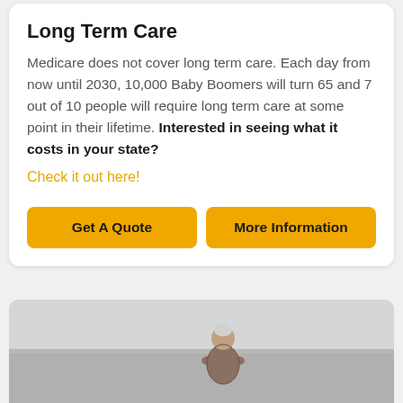Long Term Care
Medicare does not cover long term care. Each day from now until 2030, 10,000 Baby Boomers will turn 65 and 7 out of 10 people will require long term care at some point in their lifetime. Interested in seeing what it costs in your state?
Check it out here!
Get A Quote
More Information
[Figure (photo): Photo of an elderly person viewed from behind, outdoors with a grey sky background]